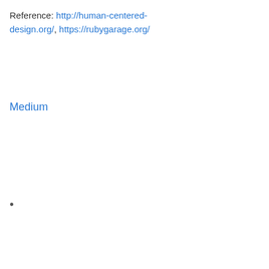Reference: http://human-centered-design.org/, https://rubygarage.org/
Medium